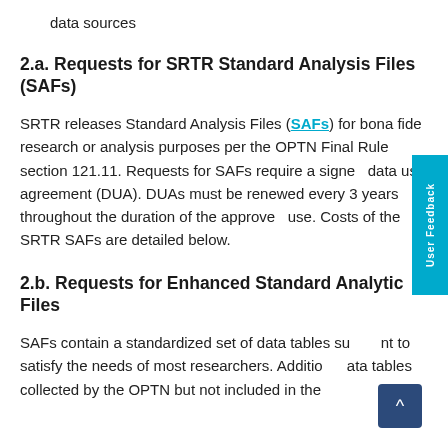data sources
2.a. Requests for SRTR Standard Analysis Files (SAFs)
SRTR releases Standard Analysis Files (SAFs) for bona fide research or analysis purposes per the OPTN Final Rule section 121.11. Requests for SAFs require a signed data use agreement (DUA). DUAs must be renewed every 3 years throughout the duration of the approved use. Costs of the SRTR SAFs are detailed below.
2.b. Requests for Enhanced Standard Analytic Files
SAFs contain a standardized set of data tables sufficient to satisfy the needs of most researchers. Additional data tables collected by the OPTN but not included in the